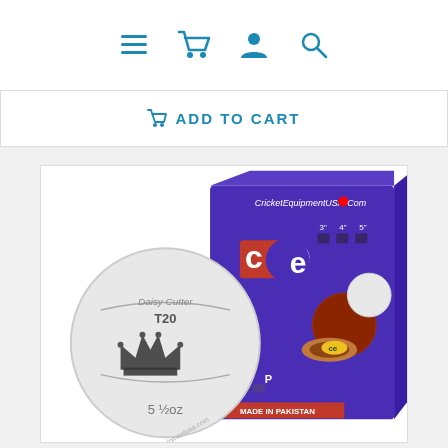Navigation bar with menu, cart, user, and search icons
ADD TO CART
[Figure (photo): Product photo showing a white CE Daisy Cutter T20 cricket ball (5.5oz) in front of its purple CE (Cricket Equipment USA) branded packaging box. The box displays the CE logo, cricket ball images, and 'Made in Pakistan' text. The ball shows a crown logo with 'Daisy Cutter T20' and '5 1/2 oz' text and 'cricketequipmentusa.com' branding.]